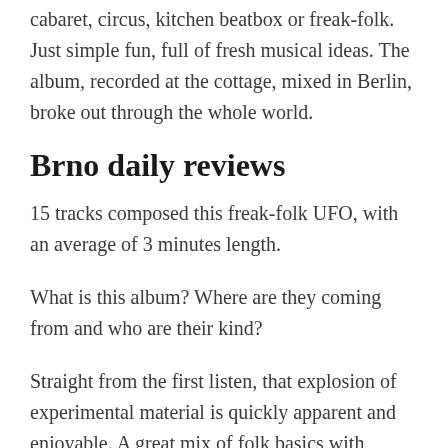cabaret, circus, kitchen beatbox or freak-folk. Just simple fun, full of fresh musical ideas. The album, recorded at the cottage, mixed in Berlin, broke out through the whole world.
Brno daily reviews
15 tracks composed this freak-folk UFO, with an average of 3 minutes length.
What is this album? Where are they coming from and who are their kind?
Straight from the first listen, that explosion of experimental material is quickly apparent and enjoyable. A great mix of folk basics with absolute precision in terms of vocals and musical arrangement arrives from